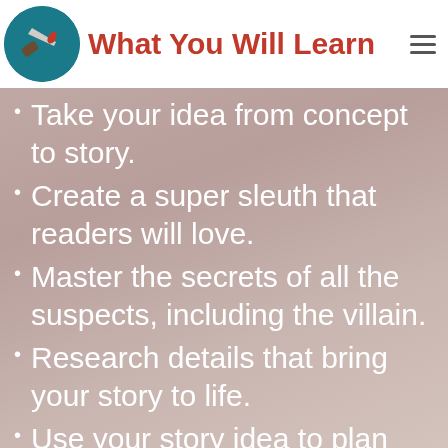What You Will Learn
Take your idea from concept to story.
Create a super sleuth that readers will love.
Master the secrets of all the suspects, including the villain.
Research details that bring your story to life.
Use your story idea to plan your mystery.
Write…